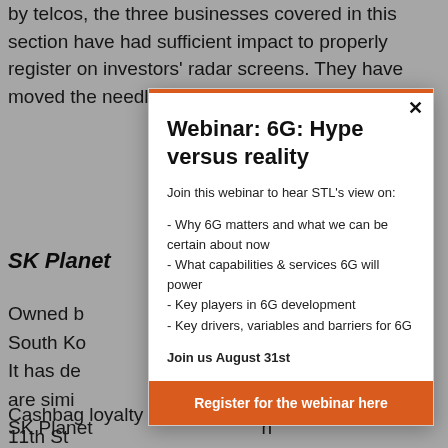by telcos, the three businesses covered in this section have had sufficient impact to properly register on investors' radar screens. They have moved the needle for their confidence
SK Planet
Owned by South Korea ... It has developed ... are similar. SK Planet service, payment Cashbag loyalty marketing programme and the 11th St
[Figure (other): Modal popup overlay showing a webinar advertisement: 'Webinar: 6G: Hype versus reality'. Contains intro text 'Join this webinar to hear STL's view on:', bullet points about 6G topics, date 'Join us August 31st', and a Register button.]